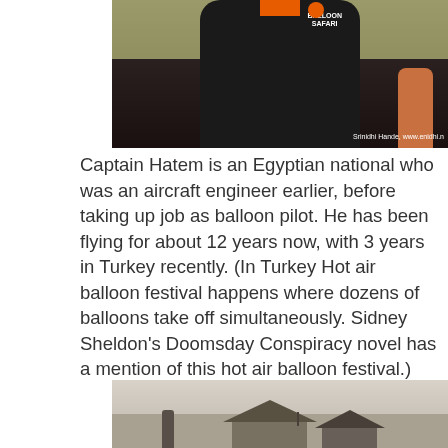[Figure (photo): A person wearing a black shirt with orange collar and 'Balloon Safari' text on the chest, photographed from torso up. Background shows a field. Watermark reads 'Srinidhi Hande, www.enidhi.n']
Captain Hatem is an Egyptian national who was an aircraft engineer earlier, before taking up job as balloon pilot. He has been flying for about 12 years now, with 3 years in Turkey recently. (In Turkey Hot air balloon festival happens where dozens of balloons take off simultaneously. Sidney Sheldon's Doomsday Conspiracy novel has a mention of this hot air balloon festival.)
[Figure (photo): A misty/hazy outdoor scene showing rooftops and trees in foggy conditions with pale sky.]